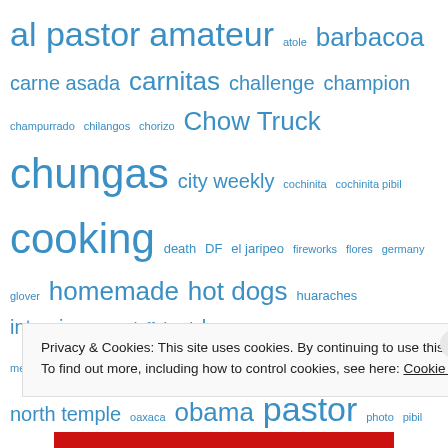[Figure (infographic): Tag cloud of food-related blog tags in various font sizes, all in blue, on white background. Tags include: al pastor, amateur, atole, barbacoa, carne asada, carnitas, challenge, champion, champurrado, chilangos, chorizo, Chow Truck, chungas, city weekly, cochinita, cochinita pibil, cooking, death, DF, el jaripeo, fireworks, flores, germany, glover, homemade, hot dogs, huaraches, interview, japan, jeff, kogi, lengua, love, magna, map, mayan, mexico city, middle_east, Molcajete, mole, new york, nopal, north temple, oaxaca, obama, pastor, photo, pibil, pork, pork hell, porn, provo, recession, recipes, review, reviews, rey, rodriguez, salt lake, seth, sex, slash, street, food, street tacos, sugarhole, sugarhouse, tacos, taco, ...]
Privacy & Cookies: This site uses cookies. By continuing to use this website, you agree to their use.
To find out more, including how to control cookies, see here: Cookie Policy